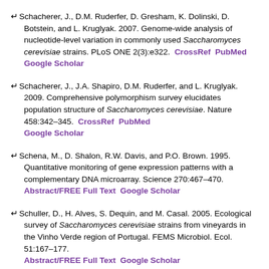Schacherer, J., D.M. Ruderfer, D. Gresham, K. Dolinski, D. Botstein, and L. Kruglyak. 2007. Genome-wide analysis of nucleotide-level variation in commonly used Saccharomyces cerevisiae strains. PLoS ONE 2(3):e322. CrossRef PubMed Google Scholar
Schacherer, J., J.A. Shapiro, D.M. Ruderfer, and L. Kruglyak. 2009. Comprehensive polymorphism survey elucidates population structure of Saccharomyces cerevisiae. Nature 458:342–345. CrossRef PubMed Google Scholar
Schena, M., D. Shalon, R.W. Davis, and P.O. Brown. 1995. Quantitative monitoring of gene expression patterns with a complementary DNA microarray. Science 270:467–470. Abstract/FREE Full Text Google Scholar
Schuller, D., H. Alves, S. Dequin, and M. Casal. 2005. Ecological survey of Saccharomyces cerevisiae strains from vineyards in the Vinho Verde region of Portugal. FEMS Microbiol. Ecol. 51:167–177. Abstract/FREE Full Text Google Scholar
Schütz, M., and J. Gafner. 1993. Analysis of yeast diversity during spontaneous and induced alcoholic fermentations. J. Appl. Microbiol. 75:551–558. Google Scholar